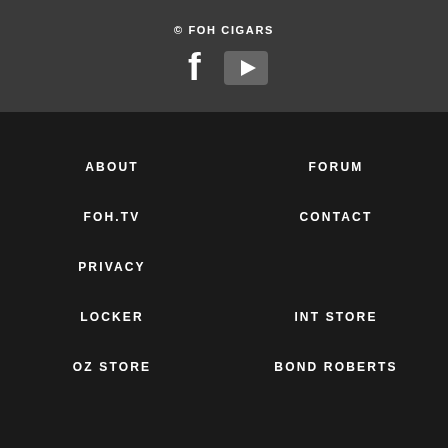© FOH CIGARS
[Figure (logo): Facebook and YouTube social media icons in white on dark background]
ABOUT
FORUM
FOH.TV
CONTACT
PRIVACY
LOCKER
INT STORE
OZ STORE
BOND ROBERTS